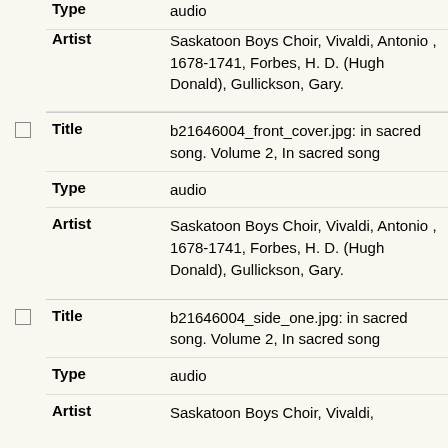| Field | Value |
| --- | --- |
| Type | audio |
| Artist | Saskatoon Boys Choir, Vivaldi, Antonio , 1678-1741, Forbes, H. D. (Hugh Donald), Gullickson, Gary. |
| Title | b21646004_front_cover.jpg: in sacred song. Volume 2, In sacred song |
| Type | audio |
| Artist | Saskatoon Boys Choir, Vivaldi, Antonio , 1678-1741, Forbes, H. D. (Hugh Donald), Gullickson, Gary. |
| Title | b21646004_side_one.jpg: in sacred song. Volume 2, In sacred song |
| Type | audio |
| Artist | Saskatoon Boys Choir, Vivaldi, |